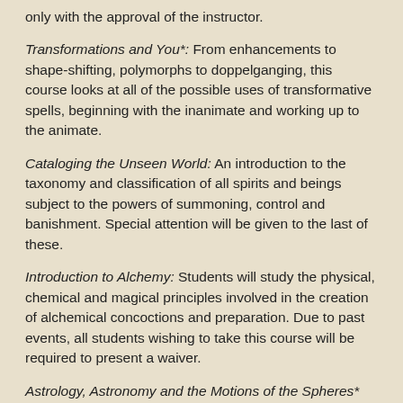only with the approval of the instructor.
Transformations and You*: From enhancements to shape-shifting, polymorphs to doppelganging, this course looks at all of the possible uses of transformative spells, beginning with the inanimate and working up to the animate.
Cataloging the Unseen World: An introduction to the taxonomy and classification of all spirits and beings subject to the powers of summoning, control and banishment. Special attention will be given to the last of these.
Introduction to Alchemy: Students will study the physical, chemical and magical principles involved in the creation of alchemical concoctions and preparation. Due to past events, all students wishing to take this course will be required to present a waiver.
Astrology, Astronomy and the Motions of the Spheres* (Relisted) This course examines how celestial mechanics influence or can serve as a measure for present events. In addition, the course will look at how well these techniques